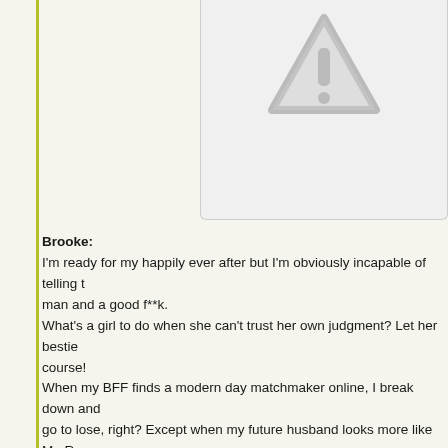[Figure (illustration): A broken/missing image placeholder box with a gray warning triangle icon containing an exclamation mark, on a light gray background.]
Brooke:
I'm ready for my happily ever after but I'm obviously incapable of telling the difference between a good man and a good f**k.
What's a girl to do when she can't trust her own judgment? Let her bestie pick the next one, of course!
When my BFF finds a modern day matchmaker online, I break down and give her a shot. What do I have to go to lose, right? Except when my future husband looks more like Mr. Rogers than Mr. Darcy, I get cold feet.
Aiden's a perfect gentleman but maybe I was hoping for something a little less perfect.
Aiden:
I'm done playing the field.
I'm ready to start a family and I want a wife at my side who's in it for the long haul. Since I can't seem to find a good woman on my own, I want what my brother has, dammit.